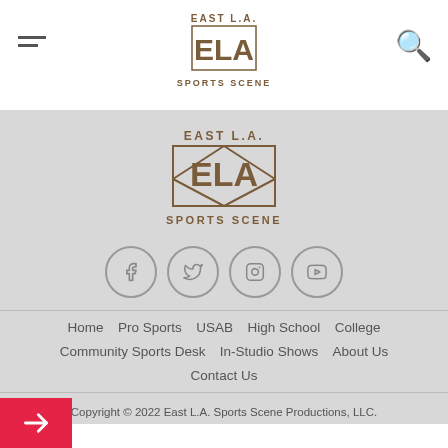East L.A. Sports Scene – header with hamburger menu, logo, and search icon
[Figure (logo): East L.A. Sports Scene logo – large centered version in gray area]
[Figure (illustration): Social media icons row: Facebook, Twitter, Instagram, YouTube – gray circles]
Home
Pro Sports
USAB
High School
College
Community Sports Desk
In-Studio Shows
About Us
Contact Us
Copyright © 2022 East L.A. Sports Scene Productions, LLC.